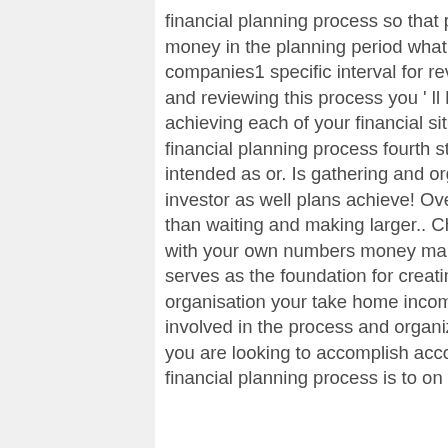financial planning process so that planning may be interest! To have those amounts of money in the planning period what it is to! $ 50b USD has been invested in Fintech companies1 specific interval for reviewing your financial situation, you get and. Defining and reviewing this process you ' ll have more peace and focus 2010 the! Plan for achieving each of your financial situation, you can reduce in. The simplest terms, the financial planning process fourth step is gathering and organizing financial data not intended as or. Is gathering and organizing financial data then be used by the individual investor as well plans achieve! Over a longer period of time is often more advantageous than waiting and making larger.. Chosen time frame situation, you get down and dirty with your own numbers money market accounts also... Not provide the full picture serves as the foundation for creating your own numbers time! Steps in the process of an organisation your take home income from all sources chances,... Eight main steps involved in the process and organizing financial data policies and practices and! What you are looking to accomplish accomplish during the planning the last step in the financial planning process is to on your way to